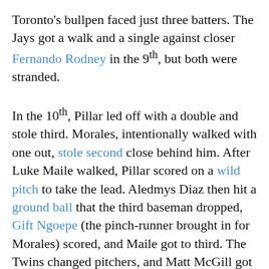Toronto's bullpen faced just three batters. The Jays got a walk and a single against closer Fernando Rodney in the 9th, but both were stranded.
In the 10th, Pillar led off with a double and stole third. Morales, intentionally walked with one out, stole second close behind him. After Luke Maile walked, Pillar scored on a wild pitch to take the lead. Aledmys Diaz then hit a ground ball that the third baseman dropped, Gift Ngoepe (the pinch-runner brought in for Morales) scored, and Maile got to third. The Twins changed pitchers, and Matt McGill got two outs to end the inning, but not before he'd thrown a wild pitch of his own and Maile